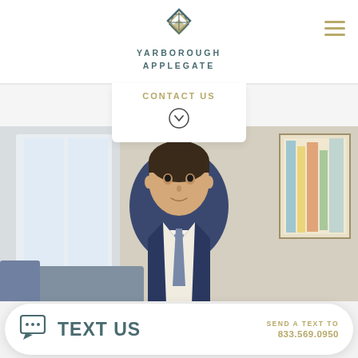[Figure (logo): Yarborough Applegate law firm logo with geometric diamond/arrow shape in teal and gold]
YARBOROUGH
APPLEGATE
CONTACT US
[Figure (photo): Professional headshot of a young man in a dark blue suit with tie, seated in an office setting]
JOHN DOBBS
TEXT US  SEND A TEXT TO 833.569.0950